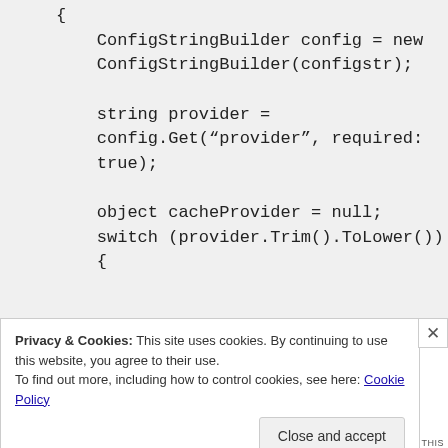{
    ConfigStringBuilder config = new ConfigStringBuilder(configstr);

    string provider =
    config.Get("provider", required: true);

    object cacheProvider = null;
    switch (provider.Trim().ToLower())
    {
Privacy & Cookies: This site uses cookies. By continuing to use this website, you agree to their use.
To find out more, including how to control cookies, see here: Cookie Policy
Close and accept